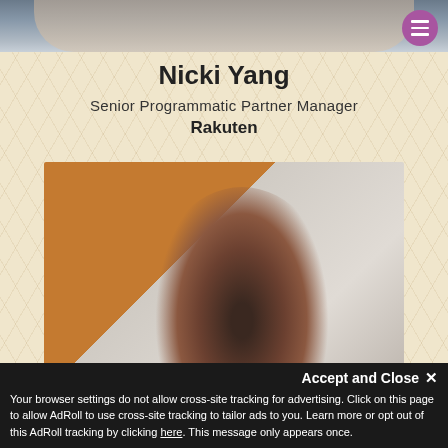[Figure (photo): Partial top view of a person's photo cropped at top of page]
Nicki Yang
Senior Programmatic Partner Manager
Rakuten
[Figure (photo): Close-up photo of a woman with dark hair, smiling, taken in a room with a wooden door]
Accept and Close ×
Your browser settings do not allow cross-site tracking for advertising. Click on this page to allow AdRoll to use cross-site tracking to tailor ads to you. Learn more or opt out of this AdRoll tracking by clicking here. This message only appears once.